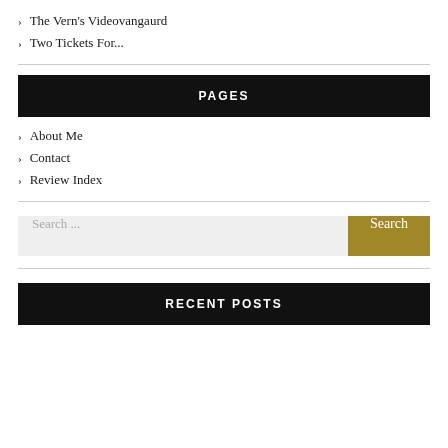> The Vern's Videovangaurd
> Two Tickets For...
PAGES
> About Me
> Contact
> Review Index
Search ...
RECENT POSTS